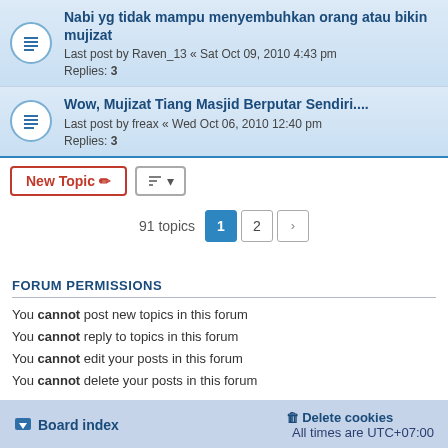Nabi yg tidak mampu menyembuhkan orang atau bikin mujizat
Last post by Raven_13 « Sat Oct 09, 2010 4:43 pm
Replies: 3
Wow, Mujizat Tiang Masjid Berputar Sendiri....
Last post by freax « Wed Oct 06, 2010 12:40 pm
Replies: 3
91 topics
FORUM PERMISSIONS
You cannot post new topics in this forum
You cannot reply to topics in this forum
You cannot edit your posts in this forum
You cannot delete your posts in this forum
Board index   Delete cookies   All times are UTC+07:00
Powered by phpBB® Forum Software © phpBB Limited
Privacy | Terms
GZIP: Off